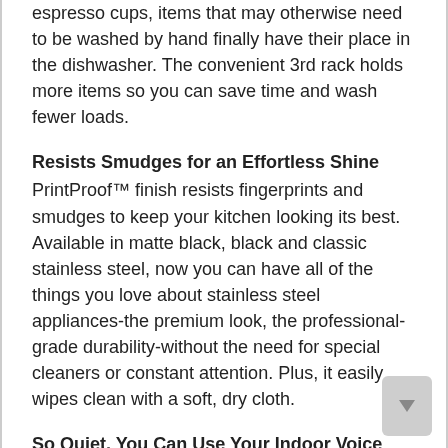espresso cups, items that may otherwise need to be washed by hand finally have their place in the dishwasher. The convenient 3rd rack holds more items so you can save time and wash fewer loads.
Resists Smudges for an Effortless Shine
PrintProof™ finish resists fingerprints and smudges to keep your kitchen looking its best. Available in matte black, black and classic stainless steel, now you can have all of the things you love about stainless steel appliances-the premium look, the professional-grade durability-without the need for special cleaners or constant attention. Plus, it easily wipes clean with a soft, dry cloth.
So Quiet, You Can Use Your Indoor Voice
Now you can run the dishwasher whenever you want-day or night. The 44 dB cleaning cycle is whisper quiet, so you won't have to worry about